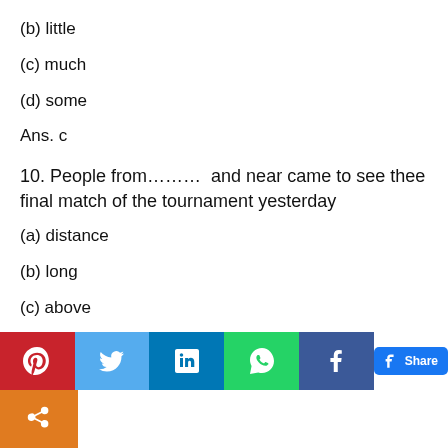(b) little
(c) much
(d) some
Ans. c
10. People from………  and near came to see thee final match of the tournament yesterday
(a) distance
(b) long
(c) above
(d) far
[Figure (other): Social sharing bar with Pinterest, Twitter, LinkedIn, WhatsApp, Facebook, Facebook Share buttons, and an orange share button]